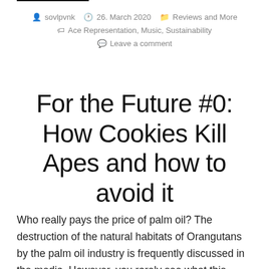sovlpvnk  26. March 2020  Reviews and More  Ace Representation, Music, Sustainability  Leave a comment
For the Future #0: How Cookies Kill Apes and how to avoid it
Who really pays the price of palm oil? The destruction of the natural habitats of Orangutans by the palm oil industry is frequently discussed in the media. However, you rarely see what this really means for the animals. The pictures show that the eyes of a